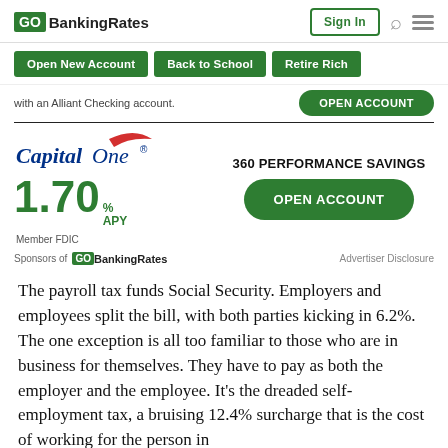GOBankingRates | Sign In
Open New Account
Back to School
Retire Rich
with an Alliant Checking account.
[Figure (other): Capital One 360 Performance Savings advertisement showing 1.70% APY, Member FDIC, with Open Account button]
Sponsors of GOBankingRates   Advertiser Disclosure
The payroll tax funds Social Security. Employers and employees split the bill, with both parties kicking in 6.2%. The one exception is all too familiar to those who are in business for themselves. They have to pay as both the employer and the employee. It's the dreaded self-employment tax, a bruising 12.4% surcharge that is the cost of working for the person in